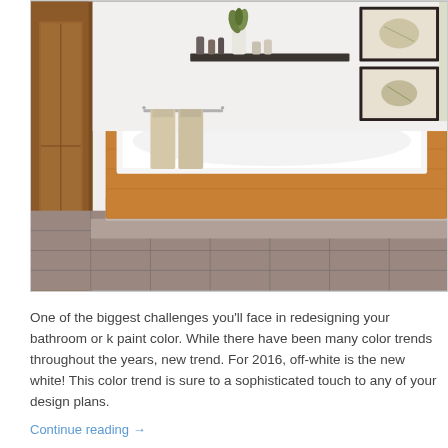[Figure (photo): A modern bathroom featuring a large rectangular bathtub with a wood-paneled surround elevated on tiled steps. The tub has chrome fixtures. Behind it is a white wall with a floating dark shelf holding toiletries and a white vase with flowers. Two framed botanical prints hang on the right wall. A tall wooden cabinet is visible on the left side.]
One of the biggest challenges you'll face in redesigning your bathroom or k paint color. While there have been many color trends throughout the years, new trend. For 2016, off-white is the new white! This color trend is sure to a sophisticated touch to any of your design plans.
Continue reading →